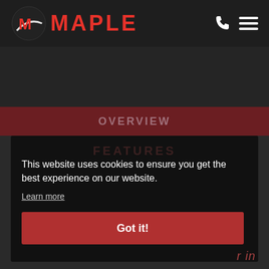[Figure (logo): Maple logo with stylized M in a circular emblem and MAPLE text in red on dark background, with phone and hamburger menu icons on the right]
OVERVIEW
FEATURES
This website uses cookies to ensure you get the best experience on our website.
Learn more
Got it!